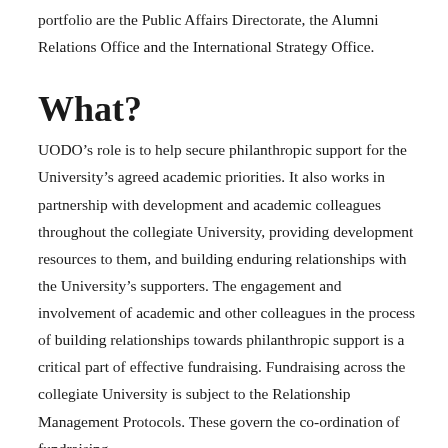portfolio are the Public Affairs Directorate, the Alumni Relations Office and the International Strategy Office.
What?
UODO’s role is to help secure philanthropic support for the University’s agreed academic priorities. It also works in partnership with development and academic colleagues throughout the collegiate University, providing development resources to them, and building enduring relationships with the University’s supporters. The engagement and involvement of academic and other colleagues in the process of building relationships towards philanthropic support is a critical part of effective fundraising. Fundraising across the collegiate University is subject to the Relationship Management Protocols. These govern the co-ordination of fundraising